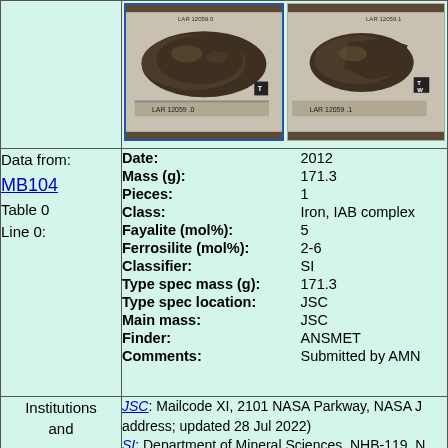[Figure (photo): Two photographs of meteorite LAR 12059 shown side by side with ruler and scale cube for reference]
| Field | Value |
| --- | --- |
| Date: | 2012 |
| Mass (g): | 171.3 |
| Pieces: | 1 |
| Class: | Iron, IAB complex |
| Fayalite (mol%): | 5 |
| Ferrosilite (mol%): | 2-6 |
| Classifier: | SI |
| Type spec mass (g): | 171.3 |
| Type spec location: | JSC |
| Main mass: | JSC |
| Finder: | ANSMET |
| Comments: | Submitted by AMN |
Data from: MB104 Table 0 Line 0:
Institutions and
JSC: Mailcode XI, 2101 NASA Parkway, NASA J address; updated 28 Jul 2022) SI: Department of Mineral Sciences, NHB-119, N